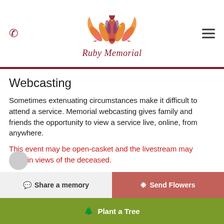[Figure (logo): Ruby Memorial logo: decorative floral/peacock illustration in orange, red, purple, and yellow with 'Ruby Memorial' in red italic script below]
Webcasting
Sometimes extenuating circumstances make it difficult to attend a service. Memorial webcasting gives family and friends the opportunity to view a service live, online, from anywhere.
This event may be open-casket and the livestream may contain views of the deceased.
Share a memory
Send Flowers
Plant a Tree